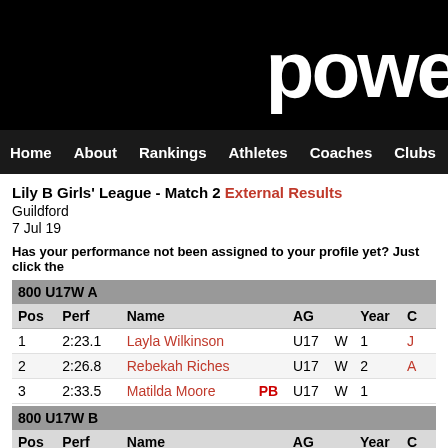powe (partial logo)
Home  About  Rankings  Athletes  Coaches  Clubs  Highlight
Lily B Girls' League - Match 2 External Results
Guildford
7 Jul 19
Has your performance not been assigned to your profile yet? Just click the
800 U17W A
| Pos | Perf | Name |  | AG |  | Year | C |
| --- | --- | --- | --- | --- | --- | --- | --- |
| 1 | 2:23.1 | Layla Wilkinson |  | U17 | W | 1 | J |
| 2 | 2:26.8 | Rebekah Riches |  | U17 | W | 2 | A |
| 3 | 2:33.5 | Matilda Moore | PB | U17 | W | 1 |  |
800 U17W B
| Pos | Perf | Name |  | AG |  | Year | C |
| --- | --- | --- | --- | --- | --- | --- | --- |
| 1 | 2:34.3 | Charlotte Arkwright | PB | U17 | W | 1 |  |
800 U15W A